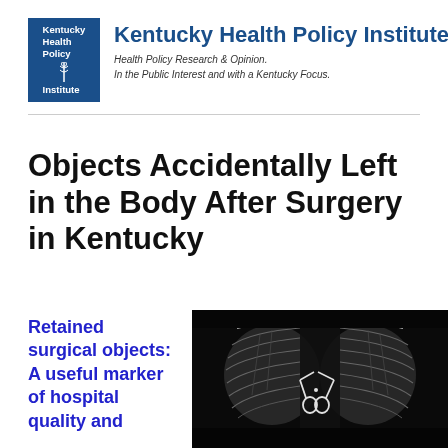[Figure (logo): Kentucky Health Policy Institute logo: dark blue square with white bold text reading 'Kentucky Health Policy Institute' and a small caduceus symbol]
Kentucky Health Policy Institute
Health Policy Research & Opinion.
In the Public Interest and with a Kentucky Focus.
Objects Accidentally Left in the Body After Surgery in Kentucky
Retained surgical objects: A useful marker of hospital quality and
[Figure (photo): Black and white chest X-ray showing ribcage and lungs with a pair of surgical scissors visible in the lower center of the chest cavity]